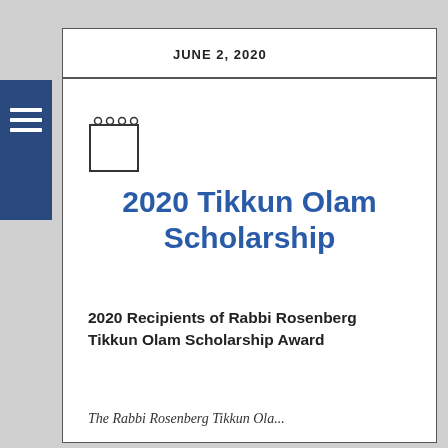JUNE 2, 2020
[Figure (illustration): Small notebook/notepad icon with spiral binding at top]
2020 Tikkun Olam Scholarship
2020 Recipients of Rabbi Rosenberg Tikkun Olam Scholarship Award
The Rabbi Rosenberg Tikkun Ola...